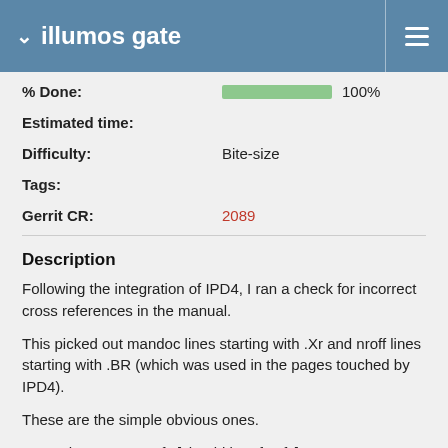illumos gate
% Done: 100%
Estimated time:
Difficulty: Bite-size
Tags:
Gerrit CR: 2089
Description
Following the integration of IPD4, I ran a check for incorrect cross references in the manual.
This picked out mandoc lines starting with .Xr and nroff lines starting with .BR (which was used in the pages touched by IPD4).
These are the simple obvious ones.
No such page UFS.4fs [should be ufs.4fs]